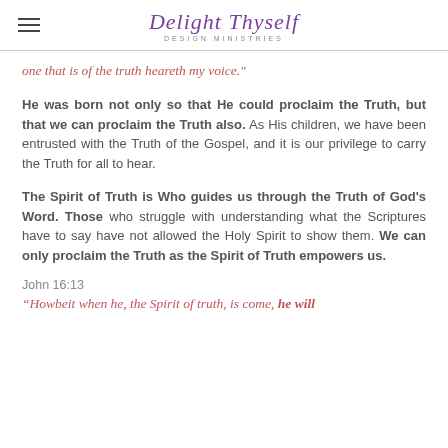Delight Thyself DESIGN MINISTRIES
one that is of the truth heareth my voice."
He was born not only so that He could proclaim the Truth, but that we can proclaim the Truth also. As His children, we have been entrusted with the Truth of the Gospel, and it is our privilege to carry the Truth for all to hear.
The Spirit of Truth is Who guides us through the Truth of God's Word. Those who struggle with understanding what the Scriptures have to say have not allowed the Holy Spirit to show them. We can only proclaim the Truth as the Spirit of Truth empowers us.
John 16:13
“Howbeit when he, the Spirit of truth, is come, he will